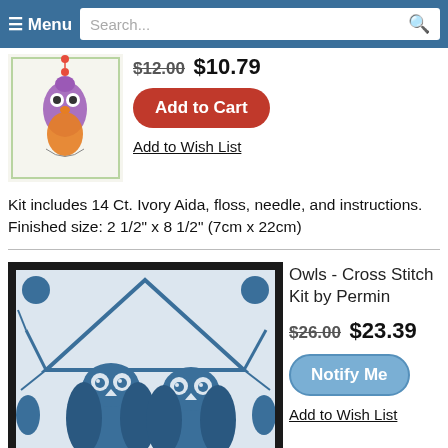Menu | Search...
$12.00 $10.79
Add to Cart
Add to Wish List
Kit includes 14 Ct. Ivory Aida, floss, needle, and instructions. Finished size: 2 1/2" x 8 1/2" (7cm x 22cm)
Owls - Cross Stitch Kit by Permin
$26.00 $23.39
Notify Me
Add to Wish List
[Figure (photo): Owl cross stitch kit product image - two blue owls on a branch, framed in black]
Kit includes 14 Ct. White Aida, pattern, thread, and instructions. Finished size: 8" x 11.6"
Top